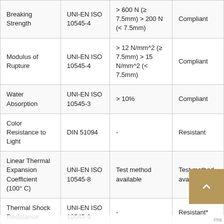| Property | Standard | Requirement | Result |
| --- | --- | --- | --- |
| Breaking Strength | UNI-EN ISO 10545-4 | > 600 N (≥ 7.5mm) > 200 N (< 7.5mm) | Compliant |
| Modulus of Rupture | UNI-EN ISO 10545-4 | > 12 N/mm^2 (≥ 7.5mm) > 15 N/mm^2 (< 7.5mm) | Compliant |
| Water Absorption | UNI-EN ISO 10545-3 | > 10% | Compliant |
| Color Resistance to Light | DIN 51094 | - | Resistant |
| Linear Thermal Expansion Coefficient (100° C) | UNI-EN ISO 10545-8 | Test method available | Test method available |
| Thermal Shock Resistance | UNI-EN ISO 10545-9 | - | Resistant* |
| Crazing | UNI-EN ISO |  |  |